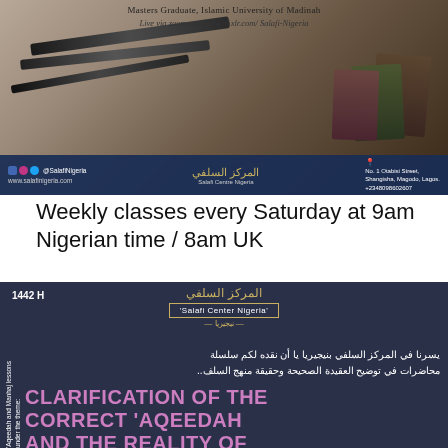[Figure (photo): Banner image showing fountain pens and old books with decorative background, includes social media info bar at bottom with @SalafiNigeria, Arabic text for Salafi Centre Nigeria, and address No 1 Otabisi Street, Shangisha, Magodo, Lagos +2348098602607]
Masters Graduate, Islamic University of Madinah
Live via zoom and www.mixlr.com/Salafi-Nigeria
Weekly classes every Saturday at 9am Nigerian time / 8am UK
[Figure (infographic): Dark blue promotional banner with 1442 H label, Salafi Center Nigeria logo in Arabic and English, Arabic body text, side vertical text reading 'Aqeedah and Manhaj lessons under the theme:', and large bold pink text reading CLARIFICATION OF THE CORRECT 'AQEEDAH AND THE REALITY OF]